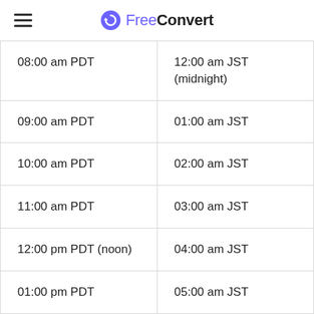FreeConvert
| 08:00 am PDT | 12:00 am JST (midnight) |
| 09:00 am PDT | 01:00 am JST |
| 10:00 am PDT | 02:00 am JST |
| 11:00 am PDT | 03:00 am JST |
| 12:00 pm PDT (noon) | 04:00 am JST |
| 01:00 pm PDT | 05:00 am JST |
| 02:00 pm PDT | 06:00 am JST |
| 03:00 pm PDT | 07:00 am JST |